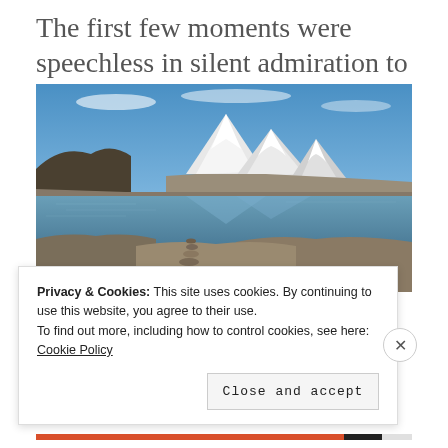The first few moments were speechless in silent admiration to such divine beauty.
[Figure (photo): Mountain lake scene with snow-capped peaks reflected in still water, with a cairn (stacked rocks) in the foreground on a rocky shore under a blue sky.]
Privacy & Cookies: This site uses cookies. By continuing to use this website, you agree to their use.
To find out more, including how to control cookies, see here: Cookie Policy
Close and accept